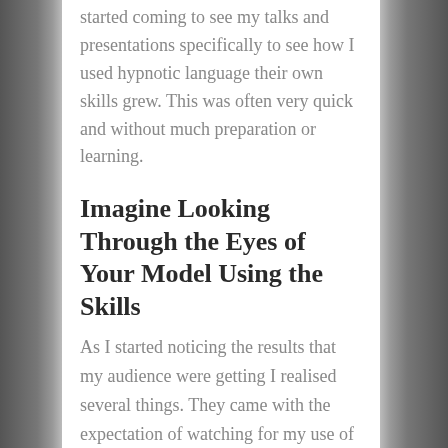started coming to see my talks and presentations specifically to see how I used hypnotic language their own skills grew. This was often very quick and without much preparation or learning.
Imagine Looking Through the Eyes of Your Model Using the Skills
As I started noticing the results that my audience were getting I realised several things. They came with the expectation of watching for my use of language patterns. That meant they were watching the presentation on at least five different